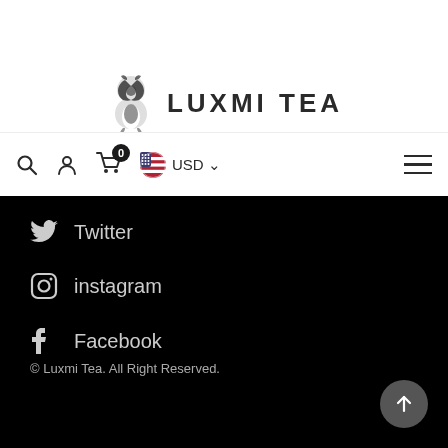[Figure (logo): Luxmi Tea logo with decorative icon and text LUXMI TEA]
Search | Account | Cart (0) | USD | Menu
Twitter
instagram
Facebook
© Luxmi Tea. All Right Reserved.